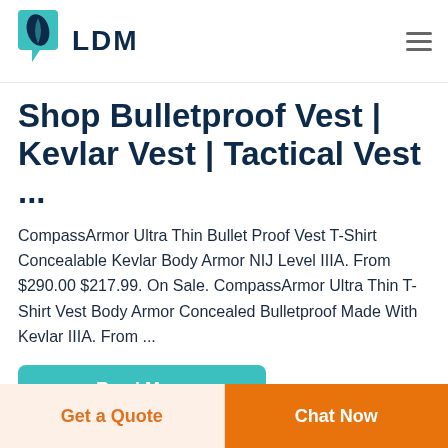LDM
Shop Bulletproof Vest | Kevlar Vest | Tactical Vest ...
CompassArmor Ultra Thin Bullet Proof Vest T-Shirt Concealable Kevlar Body Armor NIJ Level IIIA. From $290.00 $217.99. On Sale. CompassArmor Ultra Thin T-Shirt Vest Body Armor Concealed Bulletproof Made With Kevlar IIIA. From ...
Read More
Get a Quote
Chat Now